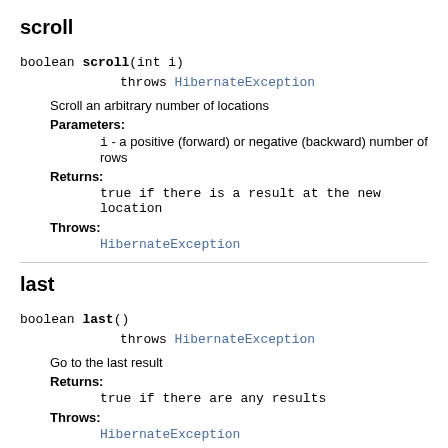scroll
boolean scroll(int i)
        throws HibernateException
Scroll an arbitrary number of locations
Parameters:
  i - a positive (forward) or negative (backward) number of rows
Returns:
  true if there is a result at the new location
Throws:
  HibernateException
last
boolean last()
        throws HibernateException
Go to the last result
Returns:
  true if there are any results
Throws:
  HibernateException
first
boolean first()